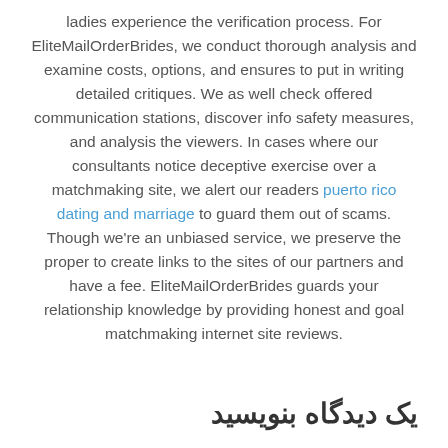ladies experience the verification process. For EliteMailOrderBrides, we conduct thorough analysis and examine costs, options, and ensures to put in writing detailed critiques. We as well check offered communication stations, discover info safety measures, and analysis the viewers. In cases where our consultants notice deceptive exercise over a matchmaking site, we alert our readers puerto rico dating and marriage to guard them out of scams. Though we're an unbiased service, we preserve the proper to create links to the sites of our partners and have a fee. EliteMailOrderBrides guards your relationship knowledge by providing honest and goal matchmaking internet site reviews.
یک دیدگاه بنویسید